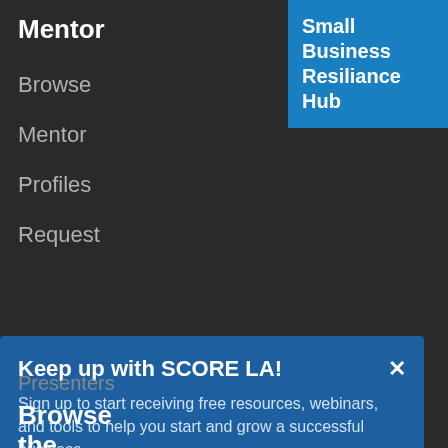Mentor
Browse
Mentor
Profiles
Request
Small Business Resiliance Hub
Keep up with SCORE LA!
Sign up to start receiving free resources, webinars, and tools to help you start and grow a successful business.
email address
SUBMIT
Presenters
Browse
the